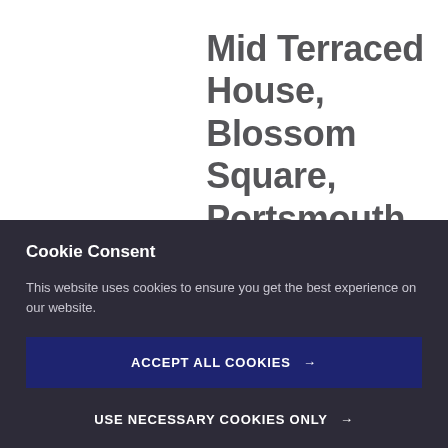Mid Terraced House, Blossom Square, Portsmouth
Cookie Consent
This website uses cookies to ensure you get the best experience on our website.
ACCEPT ALL COOKIES →
USE NECESSARY COOKIES ONLY →